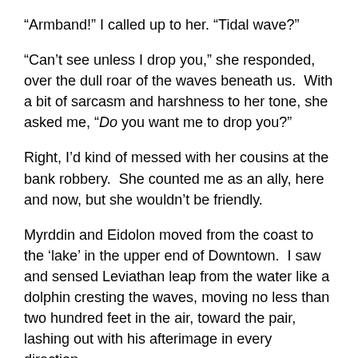“Armband!” I called up to her. “Tidal wave?”
“Can’t see unless I drop you,” she responded, over the dull roar of the waves beneath us.  With a bit of sarcasm and harshness to her tone, she asked me, “Do you want me to drop you?”
Right, I’d kind of messed with her cousins at the bank robbery.  She counted me as an ally, here and now, but she wouldn’t be friendly.
Myrddin and Eidolon moved from the coast to the ‘lake’ in the upper end of Downtown.  I saw and sensed Leviathan leap from the water like a dolphin cresting the waves, moving no less than two hundred feet in the air, toward the pair, lashing out with his afterimage in every direction.
I didn’t see how it turned out, because Laserdream carried